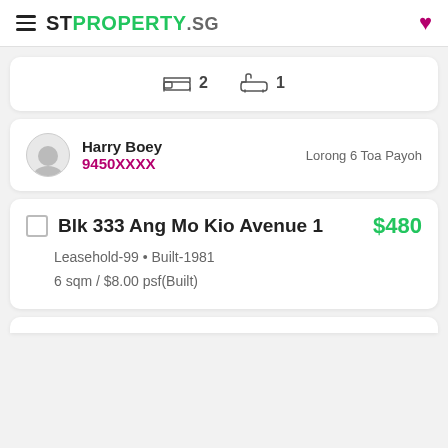STPROPERTY.sg
[Figure (infographic): Bedroom icon with count 2 and bathroom icon with count 1]
Harry Boey
9450XXXX
Lorong 6 Toa Payoh
Blk 333 Ang Mo Kio Avenue 1  $480
Leasehold-99 • Built-1981
6 sqm / $8.00 psf(Built)